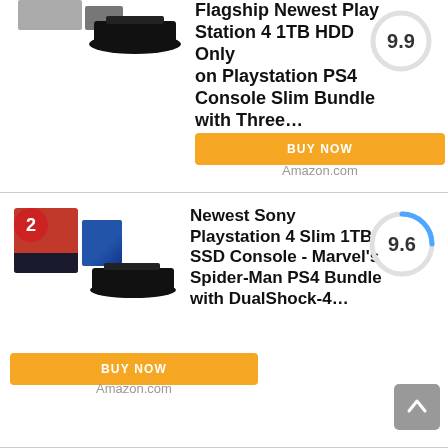[Figure (screenshot): Product listing item 1: PS4 1TB HDD Slim Bundle with score 9.9 and BUY NOW button on Amazon.com]
[Figure (screenshot): Product listing item 2: Newest Sony Playstation 4 Slim 1TB SSD Console - Marvel's Spider-Man PS4 Bundle with DualShock-4... with score 9.6 and BUY NOW button on Amazon.com]